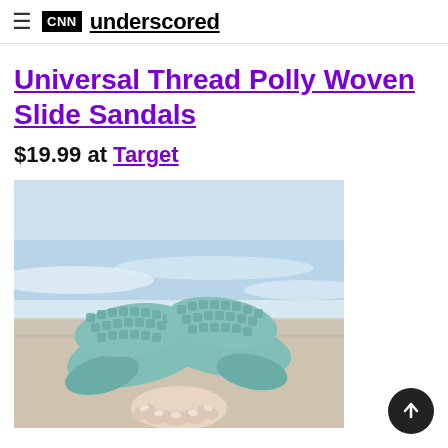CNN underscored
Universal Thread Polly Woven Slide Sandals
$19.99 at Target
[Figure (photo): Teal/mint woven slide sandals being held by a person at a beach, with ocean waves and sand in the background. The sandals have a woven strap across the top and a matching footbed.]